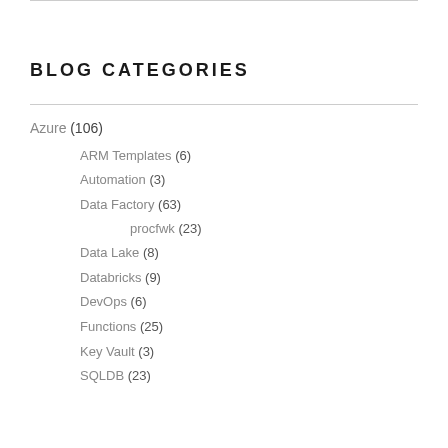BLOG CATEGORIES
Azure (106)
ARM Templates (6)
Automation (3)
Data Factory (63)
procfwk (23)
Data Lake (8)
Databricks (9)
DevOps (6)
Functions (25)
Key Vault (3)
SQLDB (23)